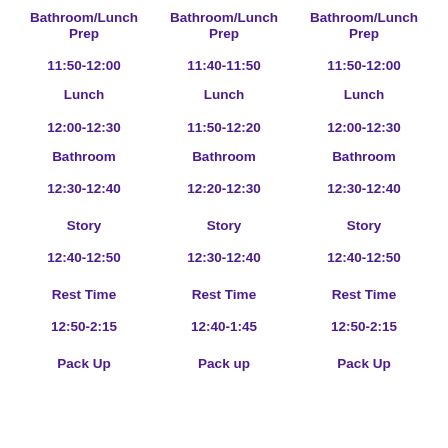| Column 1 | Column 2 | Column 3 |
| --- | --- | --- |
| Bathroom/Lunch Prep | Bathroom/Lunch Prep | Bathroom/Lunch Prep |
| 11:50-12:00 | 11:40-11:50 | 11:50-12:00 |
| Lunch | Lunch | Lunch |
| 12:00-12:30 | 11:50-12:20 | 12:00-12:30 |
| Bathroom | Bathroom | Bathroom |
| 12:30-12:40 | 12:20-12:30 | 12:30-12:40 |
| Story | Story | Story |
| 12:40-12:50 | 12:30-12:40 | 12:40-12:50 |
| Rest Time | Rest Time | Rest Time |
| 12:50-2:15 | 12:40-1:45 | 12:50-2:15 |
| Pack Up | Pack up | Pack Up |